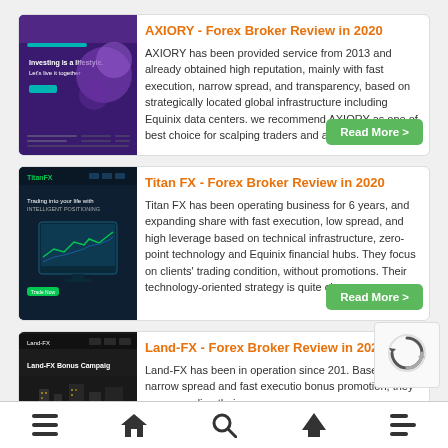AXIORY - Forex Broker Review in 2020
AXIORY has been provided service from 2013 and already obtained high reputation, mainly with fast execution, narrow spread, and transparency, based on strategically located global infrastructure including Equinix data centers. we recommend AXIORY as one of best choice for scalping traders and automatic
Titan FX - Forex Broker Review in 2020
Titan FX has been operating business for 6 years, and expanding share with fast execution, low spread, and high leverage based on technical infrastructure, zero-point technology and Equinix financial hubs. They focus on clients' trading condition, without promotions. Their technology-oriented strategy is quite clear a
Land-FX - Forex Broker Review in 2020
Land-FX has been in operation since 201. Based on narrow spread and fast executio bonus promotion, they are expanding thei